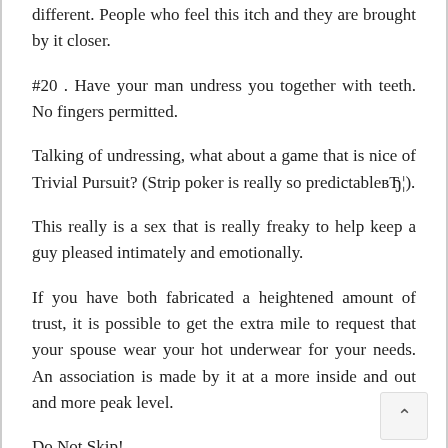different. People who feel this itch and they are brought by it closer.
#20 . Have your man undress you together with teeth. No fingers permitted.
Talking of undressing, what about a game that is nice of Trivial Pursuit? (Strip poker is really so predictableвЂ¦).
This really is a sex that is really freaky to help keep a guy pleased intimately and emotionally.
If you have both fabricated a heightened amount of trust, it is possible to get the extra mile to request that your spouse wear your hot underwear for your needs. An association is made by it at a more inside and out and more peak level.
Do Not Skip!